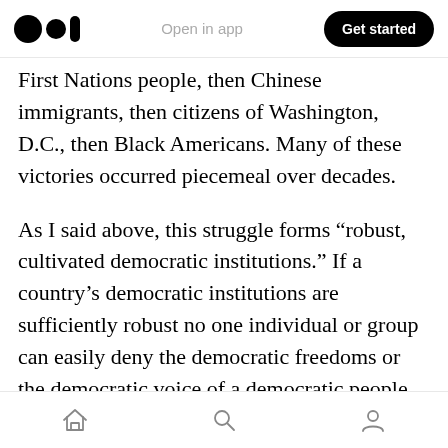Open in app | Get started
First Nations people, then Chinese immigrants, then citizens of Washington, D.C., then Black Americans. Many of these victories occurred piecemeal over decades.
As I said above, this struggle forms “robust, cultivated democratic institutions.” If a country’s democratic institutions are sufficiently robust no one individual or group can easily deny the democratic freedoms or the democratic voice of a democratic people. There will always be battles over the details, like in the United States, where the electoral college allows a minority of the
Home | Search | Profile